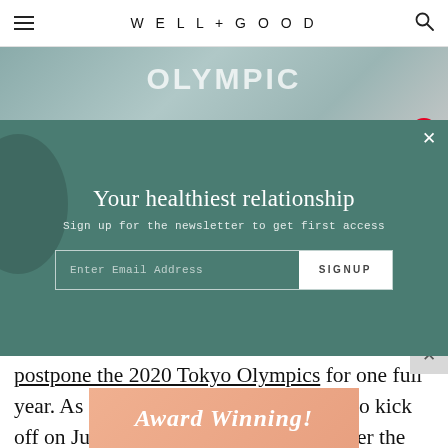WELL + GOOD
[Figure (photo): Hero image strip showing partial view of Olympic sign and person, with Pinterest save button overlay]
[Figure (infographic): Newsletter signup modal with teal/dark green background. Title: Your healthiest relationship. Subtitle: Sign up for the newsletter to get first access. Email input field and SIGNUP button.]
postpone the 2020 Tokyo Olympics for one full year. As of now, the event is scheduled to kick off on July 23, 2021. But as cases all over the world continue to tick upwards, the question at the top of everyone's mind is whether or not the 2021 games are going to
[Figure (photo): Bottom advertisement banner with peach/salmon background showing cursive text 'Award Winning!' and a product bottle]